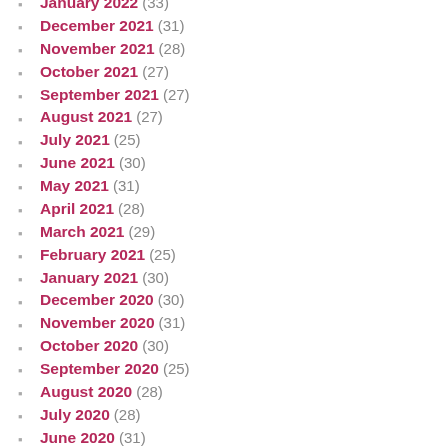January 2022 (33)
December 2021 (31)
November 2021 (28)
October 2021 (27)
September 2021 (27)
August 2021 (27)
July 2021 (25)
June 2021 (30)
May 2021 (31)
April 2021 (28)
March 2021 (29)
February 2021 (25)
January 2021 (30)
December 2020 (30)
November 2020 (31)
October 2020 (30)
September 2020 (25)
August 2020 (28)
July 2020 (28)
June 2020 (31)
May 2020 (31)
April 2020 (28)